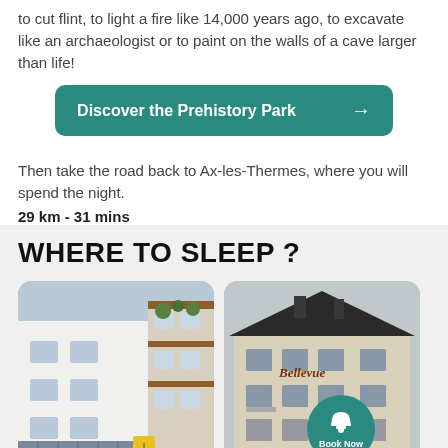to cut flint, to light a fire like 14,000 years ago, to excavate like an archaeologist or to paint on the walls of a cave larger than life!
Discover the Prehistory Park →
Then take the road back to Ax-les-Thermes, where you will spend the night.
29 km - 31 mins
WHERE TO SLEEP ?
[Figure (photo): Hotel l'Auzeraie exterior photo showing a white multi-story alpine-style building with balconies and solar panels, surrounded by greenery]
[Figure (photo): Le Bellevue Hotel exterior photo showing a beige/stone multi-story building with a dark roof, 'Bellevue' sign on facade, and a 'Book Now' circular teal badge overlay]